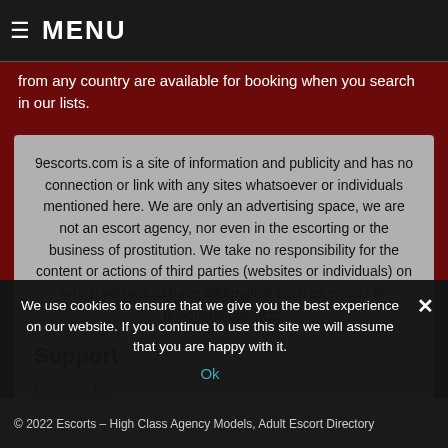MENU
from any country are available for booking when you search in our lists.
9escorts.com is a site of information and publicity and has no connection or link with any sites whatsoever or individuals mentioned here. We are only an advertising space, we are not an escort agency, nor even in the escorting or the business of prostitution. We take no responsibility for the content or actions of third parties (websites or individuals) on which you would have information such as emails or telephone contacts.
Support
Contact us
Privacy Policy
Cookies Policy
We use cookies to ensure that we give you the best experience on our website. If you continue to use this site we will assume that you are happy with it.
Ok
© 2022 Escorts – High Class Agency Models, Adult Escort Directory